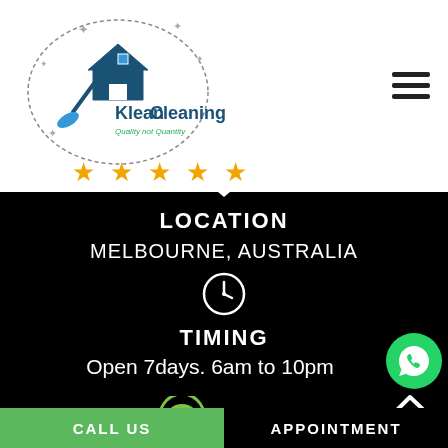[Figure (logo): Klean Cleaning logo with house, broom, sparkles, and 'Quality not Quantity' tagline inside a circular badge]
[Figure (illustration): Five gold/yellow star rating icons]
[Figure (illustration): Hamburger menu icon (three horizontal lines)]
LOCATION
MELBOURNE, AUSTRALIA
[Figure (illustration): Clock icon circle showing time]
TIMING
Open 7days. 6am to 10pm
[Figure (illustration): WhatsApp green circle icon with phone handset]
[Figure (logo): Product Review .com.au logo with green circle and cube icon]
[Figure (illustration): Upward chevron arrow with TOP label]
CALL US
APPOINTMENT